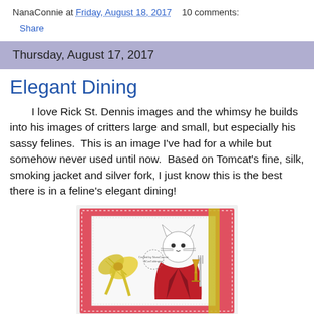NanaConnie at Friday, August 18, 2017   10 comments:
Share
Thursday, August 17, 2017
Elegant Dining
I love Rick St. Dennis images and the whimsy he builds into his images of critters large and small, but especially his sassy felines.  This is an image I've had for a while but somehow never used until now.  Based on Tomcat's fine, silk, smoking jacket and silver fork, I just know this is the best there is in a feline's elegant dining!
[Figure (illustration): A handmade greeting card with a pink/red background, featuring an illustrated cat character wearing a red smoking jacket, holding a silver fork, with a yellow ribbon bow on the left side.]